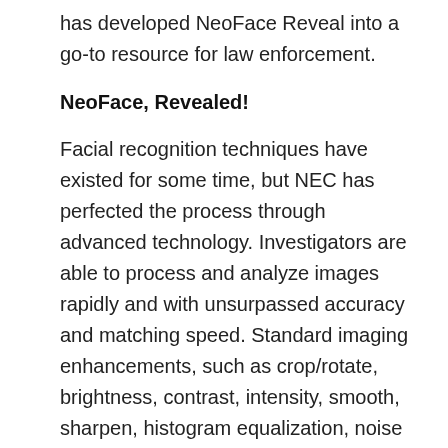has developed NeoFace Reveal into a go-to resource for law enforcement.
NeoFace, Revealed!
Facial recognition techniques have existed for some time, but NEC has perfected the process through advanced technology. Investigators are able to process and analyze images rapidly and with unsurpassed accuracy and matching speed. Standard imaging enhancements, such as crop/rotate, brightness, contrast, intensity, smooth, sharpen, histogram equalization, noise reduction, aspect ratio correction, and de-interlacing, are combined with additional